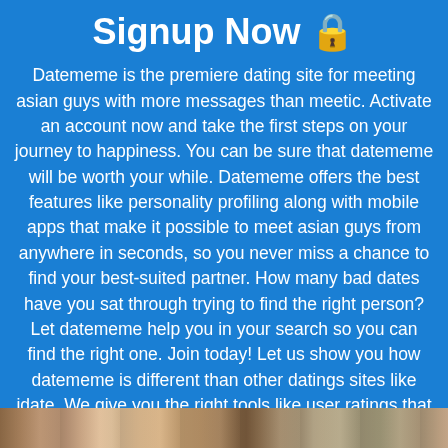Signup Now 🔒
Datememe is the premiere dating site for meeting asian guys with more messages than meetic. Activate an account now and take the first steps on your journey to happiness. You can be sure that datememe will be worth your while. Datememe offers the best features like personality profiling along with mobile apps that make it possible to meet asian guys from anywhere in seconds, so you never miss a chance to find your best-suited partner. How many bad dates have you sat through trying to find the right person? Let datememe help you in your search so you can find the right one. Join today! Let us show you how datememe is different than other datings sites like jdate. We give you the right tools like user ratings that allow you find like-minded asian guys. Datememe keeps your profile is complete so you can find complimetary asian guys.
[Figure (photo): A horizontal strip of photos of people at the bottom of the page]